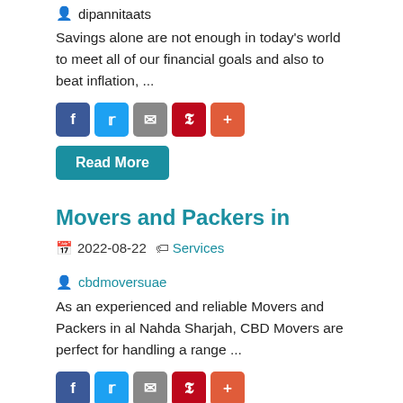dipannitaats
Savings alone are not enough in today’s world to meet all of our financial goals and also to beat inflation, ...
[Figure (other): Social share buttons: Facebook (blue), Twitter (light blue), Email (grey), Pinterest (red), Plus (orange-red)]
Read More
Movers and Packers in
2022-08-22  Services
cbdmoversuae
As an experienced and reliable Movers and Packers in al Nahda Sharjah, CBD Movers are perfect for handling a range ...
[Figure (other): Social share buttons: Facebook (blue), Twitter (light blue), Email (grey), Pinterest (red), Plus (orange-red)]
Read More